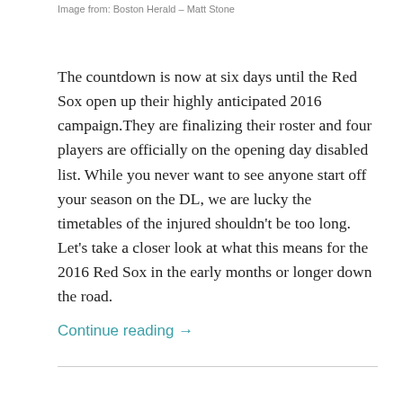Image from: Boston Herald – Matt Stone
The countdown is now at six days until the Red Sox open up their highly anticipated 2016 campaign.They are finalizing their roster and four players are officially on the opening day disabled list. While you never want to see anyone start off your season on the DL, we are lucky the timetables of the injured shouldn't be too long. Let's take a closer look at what this means for the 2016 Red Sox in the early months or longer down the road.
Continue reading →